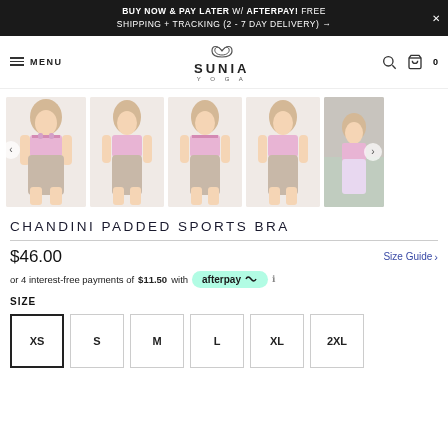BUY NOW & PAY LATER W/ AFTERPAY! FREE SHIPPING + TRACKING (2 - 7 DAY DELIVERY) →
[Figure (screenshot): Sunia Yoga website navigation bar with hamburger menu, SUNIA YOGA logo, search icon, and cart icon showing 0 items]
[Figure (photo): Product gallery showing 5 thumbnail images of women modeling the Chandini Padded Sports Bra in pink marble print with beige shorts, from different angles]
CHANDINI PADDED SPORTS BRA
$46.00
Size Guide >
or 4 interest-free payments of $11.50 with afterpay ℹ
SIZE
XS
S
M
L
XL
2XL